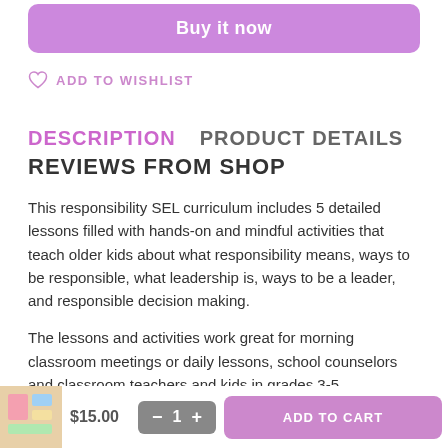Buy it now
ADD TO WISHLIST
DESCRIPTION    PRODUCT DETAILS
REVIEWS FROM SHOP
This responsibility SEL curriculum includes 5 detailed lessons filled with hands-on and mindful activities that teach older kids about what responsibility means, ways to be responsible, what leadership is, ways to be a leader, and responsible decision making.
The lessons and activities work great for morning classroom meetings or daily lessons, school counselors and classroom teachers and kids in grades 3-5.
See the PREVIEW for more details and pictures of what this
$15.00
1
ADD TO CART